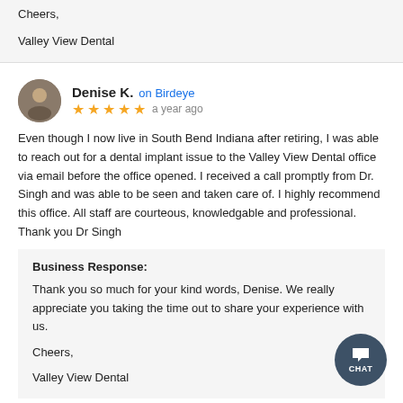Cheers,

Valley View Dental
Denise K. on Birdeye
★★★★★ a year ago
Even though I now live in South Bend Indiana after retiring, I was able to reach out for a dental implant issue to the Valley View Dental office via email before the office opened. I received a call promptly from Dr. Singh and was able to be seen and taken care of. I highly recommend this office. All staff are courteous, knowledgable and professional. Thank you Dr Singh
Business Response:
Thank you so much for your kind words, Denise. We really appreciate you taking the time out to share your experience with us.

Cheers,

Valley View Dental